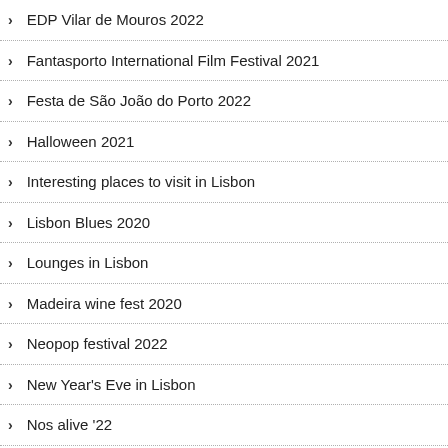EDP Vilar de Mouros 2022
Fantasporto International Film Festival 2021
Festa de São João do Porto 2022
Halloween 2021
Interesting places to visit in Lisbon
Lisbon Blues 2020
Lounges in Lisbon
Madeira wine fest 2020
Neopop festival 2022
New Year's Eve in Lisbon
Nos alive '22